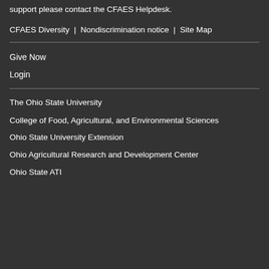support please contact the CFAES Helpdesk.
CFAES Diversity | Nondiscrimination notice | Site Map
Give Now
Login
The Ohio State University
College of Food, Agricultural, and Environmental Sciences
Ohio State University Extension
Ohio Agricultural Research and Development Center
Ohio State ATI